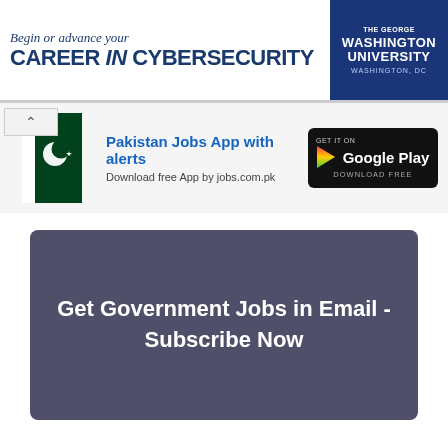[Figure (infographic): Advertisement banner for The George Washington University cybersecurity program. Text: 'Begin or advance your CAREER in CYBERSECURITY' with GWU branding on right side in navy blue.]
[Figure (infographic): Advertisement banner for Pakistan Jobs App. Shows Pakistani flag logo, text 'Pakistan Jobs App with alerts Download free App by jobs.com.pk', and Google Play download button.]
Get Government Jobs in Email - Subscribe Now